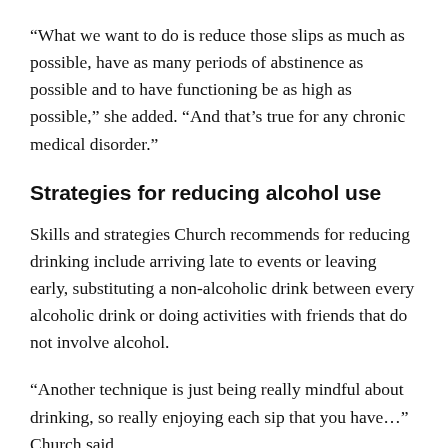“What we want to do is reduce those slips as much as possible, have as many periods of abstinence as possible and to have functioning be as high as possible,” she added. “And that’s true for any chronic medical disorder.”
Strategies for reducing alcohol use
Skills and strategies Church recommends for reducing drinking include arriving late to events or leaving early, substituting a non-alcoholic drink between every alcoholic drink or doing activities with friends that do not involve alcohol.
“Another technique is just being really mindful about drinking, so really enjoying each sip that you have…” Church said…